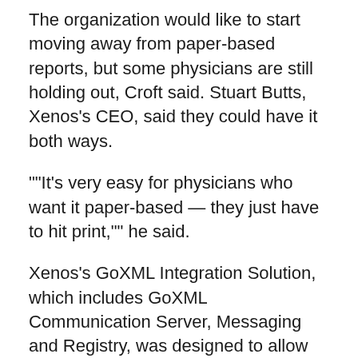The organization would like to start moving away from paper-based reports, but some physicians are still holding out, Croft said. Stuart Butts, Xenos's CEO, said they could have it both ways.
""It's very easy for physicians who want it paper-based — they just have to hit print,"" he said.
Xenos's GoXML Integration Solution, which includes GoXML Communication Server, Messaging and Registry, was designed to allow the secure exchange of information over the Internet and streamlining business processes across multiple organizations, Butts said. Getting Grey Bruce up and running will be basically flipping a switch.
""They're making the information available where it's